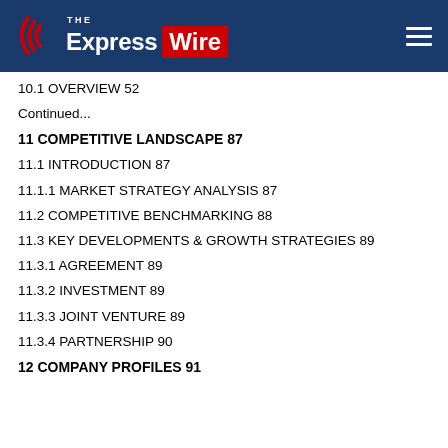The Express Wire
10.1 OVERVIEW 52
Continued...
11 COMPETITIVE LANDSCAPE 87
11.1 INTRODUCTION 87
11.1.1 MARKET STRATEGY ANALYSIS 87
11.2 COMPETITIVE BENCHMARKING 88
11.3 KEY DEVELOPMENTS & GROWTH STRATEGIES 89
11.3.1 AGREEMENT 89
11.3.2 INVESTMENT 89
11.3.3 JOINT VENTURE 89
11.3.4 PARTNERSHIP 90
12 COMPANY PROFILES 91